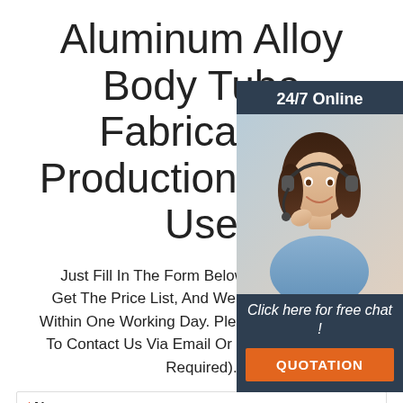Aluminum Alloy Body Tube Fabrication Production Line A Use
[Figure (photo): Customer service representative with headset, 24/7 Online overlay panel with photo, 'Click here for free chat!' text and orange QUOTATION button]
Just Fill In The Form Below, Click Submit, Get The Price List, And We Will Contact You Within One Working Day. Please Also Feel Free To Contact Us Via Email Or Phone. (* Denotes Required).
* Name:
* Email: